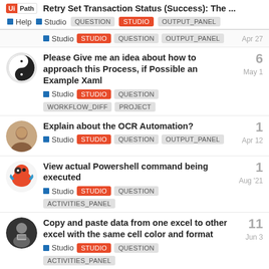Retry Set Transaction Status (Success): The ... | Help | Studio | QUESTION | STUDIO | OUTPUT_PANEL
Studio | STUDIO | QUESTION | OUTPUT_PANEL | Apr 27
Please Give me an idea about how to approach this Process, if Possible an Example Xaml | Studio | STUDIO | QUESTION | WORKFLOW_DIFF | PROJECT | May 1 | 6 replies
Explain about the OCR Automation? | Studio | STUDIO | QUESTION | OUTPUT_PANEL | Apr 12 | 1 reply
View actual Powershell command being executed | Studio | STUDIO | QUESTION | ACTIVITIES_PANEL | Aug '21 | 1 reply
Copy and paste data from one excel to other excel with the same cell color and format | Studio | STUDIO | QUESTION | ACTIVITIES_PANEL | Jun 3 | 11 replies